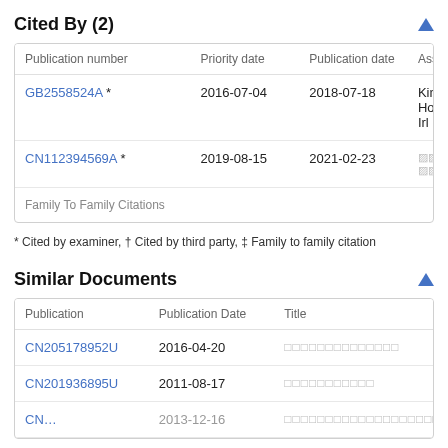Cited By (2)
| Publication number | Priority date | Publication date | Ass |
| --- | --- | --- | --- |
| GB2558524A * | 2016-07-04 | 2018-07-18 | Kin Hol Irl L |
| CN112394569A * | 2019-08-15 | 2021-02-23 |  |
| Family To Family Citations |  |  |  |
* Cited by examiner, † Cited by third party, ‡ Family to family citation
Similar Documents
| Publication | Publication Date | Title |
| --- | --- | --- |
| CN205178952U | 2016-04-20 |  |
| CN201936895U | 2011-08-17 |  |
| CN… | 2013-12-16 |  |